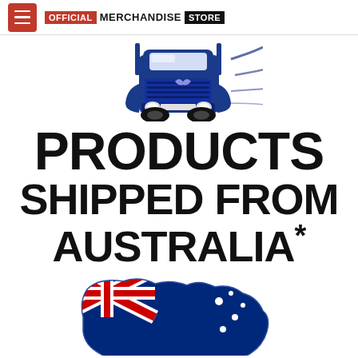OFFICIAL MERCHANDISE STORE
[Figure (illustration): Stylized blue delivery truck/semi-truck illustration facing forward with speed lines, viewed from front-center angle]
PRODUCTS SHIPPED FROM AUSTRALIA*
[Figure (illustration): Map of Australia filled with the Australian flag (Union Jack on left, blue field with stars on right), shown in blue and red colors]